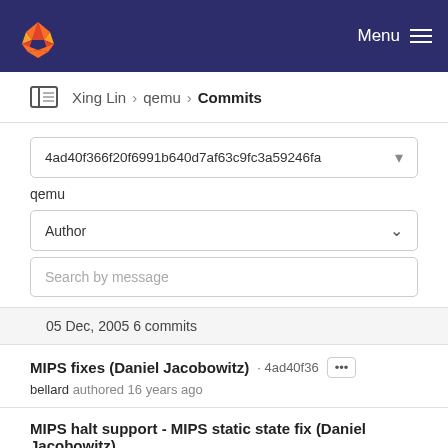GitLab navigation bar with logo and Menu
Xing Lin › qemu › Commits
4ad40f366f20f6991b640d7af63c9fc3a59246fa
qemu
Author
Search by message
05 Dec, 2005 6 commits
MIPS fixes (Daniel Jacobowitz) · 4ad40f36 ··· bellard authored 16 years ago
MIPS halt support - MIPS static state fix (Daniel Jacobowitz) · 6810e154 ··· bellard authored 16 years ago